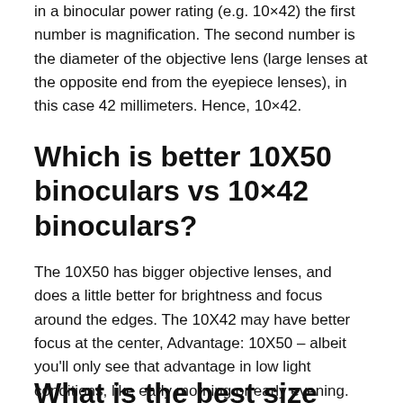in a binocular power rating (e.g. 10×42) the first number is magnification. The second number is the diameter of the objective lens (large lenses at the opposite end from the eyepiece lenses), in this case 42 millimeters. Hence, 10×42.
Which is better 10X50 binoculars vs 10×42 binoculars?
The 10X50 has bigger objective lenses, and does a little better for brightness and focus around the edges. The 10X42 may have better focus at the center, Advantage: 10X50 – albeit you'll only see that advantage in low light conditions, like early morning or early evening.
What is the best size